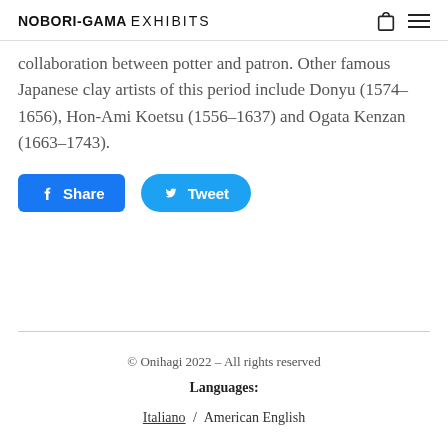NOBORI-GAMA EXHIBITS
collaboration between potter and patron. Other famous Japanese clay artists of this period include Donyu (1574–1656), Hon-Ami Koetsu (1556–1637) and Ogata Kenzan (1663–1743).
[Figure (other): Share button (Facebook) and Tweet button (Twitter)]
© Onihagi 2022 – All rights reserved
Languages:
Italiano / American English